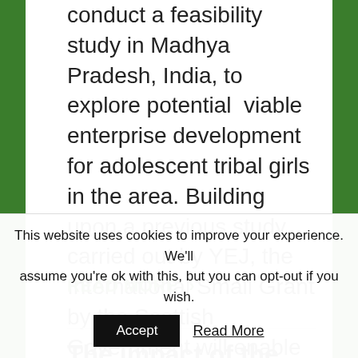conduct a feasibility study in Madhya Pradesh, India, to explore potential viable enterprise development for adolescent tribal girls in the area. Building upon a previous study carried out by YEJ, the International Small Grant by the Scottish Government will enable …
READ MORE >
This website uses cookies to improve your experience. We'll assume you're ok with this, but you can opt-out if you wish.